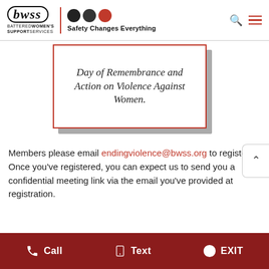bwss BATTERED WOMEN'S SUPPORT SERVICES | Safety Changes Everything
[Figure (other): Quote card with red border on white background with drop shadow, containing italic text: 'Day of Remembrance and Action on Violence Against Women.']
Members please email endingviolence@bwss.org to register. Once you've registered, you can expect us to send you a confidential meeting link via the email you've provided at registration.
Call   Text   EXIT